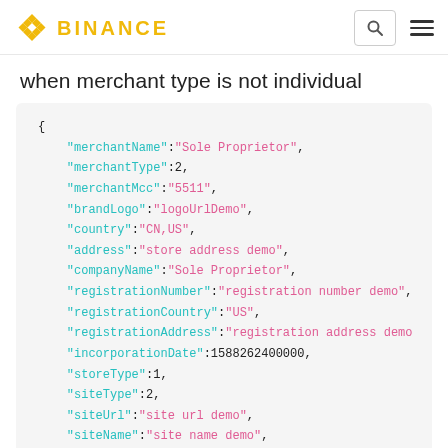BINANCE
when merchant type is not individual
{
  "merchantName":"Sole Proprietor",
  "merchantType":2,
  "merchantMcc":"5511",
  "brandLogo":"logoUrlDemo",
  "country":"CN,US",
  "address":"store address demo",
  "companyName":"Sole Proprietor",
  "registrationNumber":"registration number demo",
  "registrationCountry":"US",
  "registrationAddress":"registration address demo
  "incorporationDate":1588262400000,
  "storeType":1,
  "siteType":2,
  "siteUrl":"site url demo",
  "siteName":"site name demo",
  "certificateType":null,
  "certificateCountry":null,
  "certificateNumber":null,
  "certificateValidDate":null,